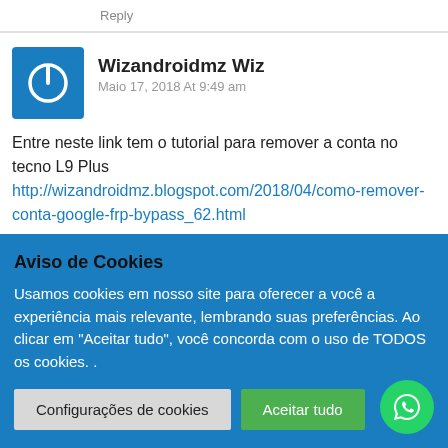Reply
Wizandroidmz Wiz
Maio 17, 2018 At 9:49 am
Entre neste link tem o tutorial para remover a conta no tecno L9 Plus http://wizandroidmz.blogspot.com/2018/04/como-remover-conta-google-frp-bypass_62.html
Reply
Aviso de Cookies
Usamos cookies em nosso site para oferecer a você a experiência mais relevante, lembrando suas preferências. Ao clicar em "Aceitar tudo", você concorda com o uso de TODOS os cookies. .